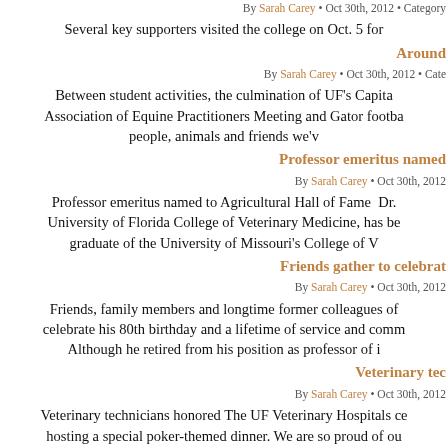By Sarah Carey • Oct 30th, 2012 • Category
Several key supporters visited the college on Oct. 5 for
Around
By Sarah Carey • Oct 30th, 2012 • Cate
Between student activities, the culmination of UF's Capita Association of Equine Practitioners Meeting and Gator footba people, animals and friends we'v
Professor emeritus named
By Sarah Carey • Oct 30th, 2012
Professor emeritus named to Agricultural Hall of Fame  Dr. University of Florida College of Veterinary Medicine, has be graduate of the University of Missouri's College of V
Friends gather to celebrat
By Sarah Carey • Oct 30th, 2012
Friends, family members and longtime former colleagues of celebrate his 80th birthday and a lifetime of service and comm Although he retired from his position as professor of i
Veterinary tec
By Sarah Carey • Oct 30th, 2012
Veterinary technicians honored The UF Veterinary Hospitals ce hosting a special poker-themed dinner. We are so proud of ou and for those who entru
UF veterinarians say total knee re
By Sarah Carey • Oct 30th, 2012
First for UF: total knee replacement surgery on dog a success, replacement surgery at the University of Florida Small Anima